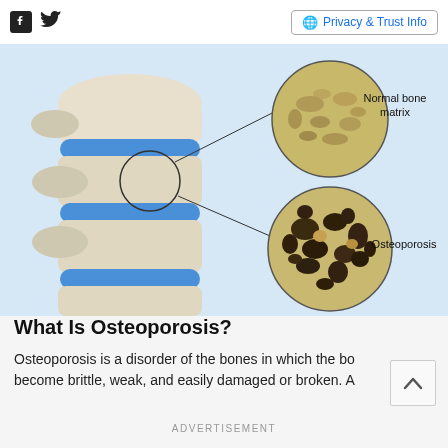Facebook Twitter | Privacy & Trust Info
[Figure (illustration): Medical illustration showing a spine with vertebrae and blue intervertebral discs on the left. On the right, two circular magnified insets: the top one labeled 'Normal bone matrix' shows healthy dense bone tissue, and the bottom one labeled 'Osteoporosis' shows porous, weakened bone with large cavities. Lines connect the vertebra to both insets.]
What Is Osteoporosis?
Osteoporosis is a disorder of the bones in which the bones become brittle, weak, and easily damaged or broken. A
ADVERTISEMENT